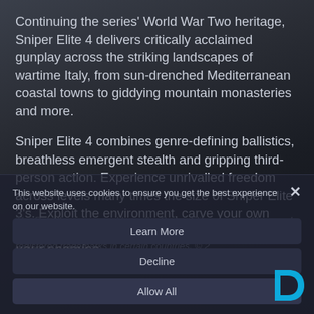Continuing the series' World War Two heritage, Sniper Elite 4 delivers critically acclaimed gunplay across the striking landscapes of wartime Italy, from sun-drenched Mediterranean coastal towns to giddying mountain monasteries and more.
Sniper Elite 4 combines genre-defining ballistics, breathless emergent stealth and gripping third-person action. Experience unrivalled freedom across levels many times the size of Sniper Elite 3's. Exploit the environment, carve your own approach, manipulate the battlefield and hunt your enemies.
The Rebellion name and logo, the Sniper Elite name and logo and the Sniper Elite Eagle are trademarks of Rebellion and may be registered trademarks in certain countries. © 2
This website uses cookies to ensure you get the best experience on our website.
Learn More
Decline
Allow All